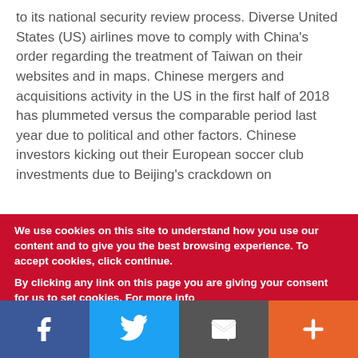to its national security review process. Diverse United States (US) airlines move to comply with China's order regarding the treatment of Taiwan on their websites and in maps. Chinese mergers and acquisitions activity in the US in the first half of 2018 has plummeted versus the comparable period last year due to political and other factors. Chinese investors kicking out their European soccer club investments due to Beijing's crackdown on
We use cookies on this site to understand how you use our content and to give you the best browsing experience. To accept cookies, click continue.

By clicking any link on this page you are giving your consent for us to set cookies. For more info
[Figure (other): Social sharing bar with four buttons: Facebook (blue), Twitter (light blue), Email/envelope (dark gray), and a plus/more button (orange)]